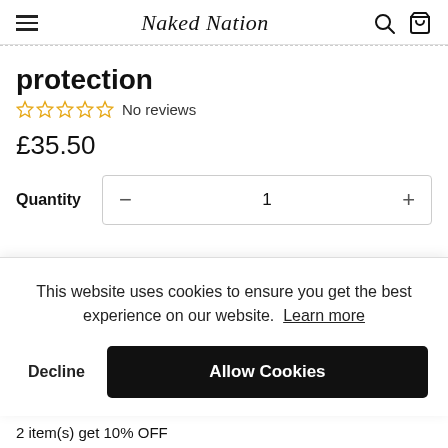Naked Nation
protection
☆☆☆☆☆ No reviews
£35.50
Quantity  −  1  +
This website uses cookies to ensure you get the best experience on our website. Learn more
Decline  Allow Cookies
2 item(s) get 10% OFF